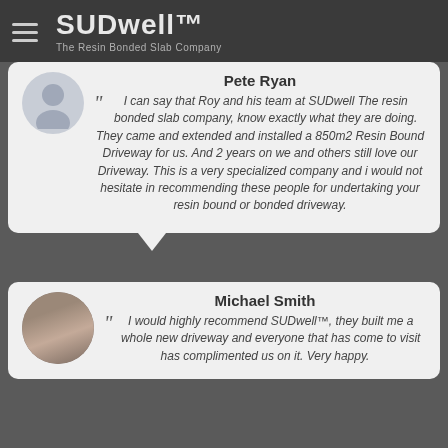SUDwell™ The Resin Bonded Slab Company
Pete Ryan
I can say that Roy and his team at SUDwell The resin bonded slab company, know exactly what they are doing. They came and extended and installed a 850m2 Resin Bound Driveway for us. And 2 years on we and others still love our Driveway. This is a very specialized company and i would not hesitate in recommending these people for undertaking your resin bound or bonded driveway.
Michael Smith
I would highly recommend SUDwell™, they built me a whole new driveway and everyone that has come to visit has complimented us on it. Very happy.